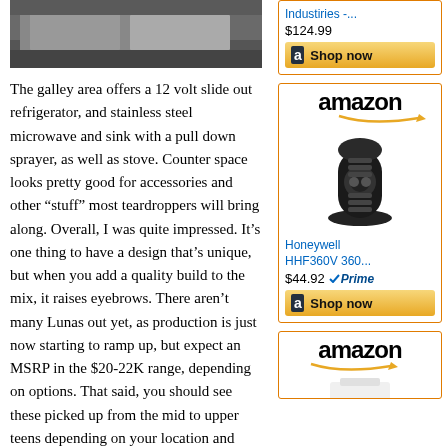[Figure (photo): Partial photo of a teardrop trailer exterior, showing kitchen/galley slide-out area outdoors on grass]
The galley area offers a 12 volt slide out refrigerator, and stainless steel microwave and sink with a pull down sprayer, as well as stove. Counter space looks pretty good for accessories and other “stuff” most teardroppers will bring along. Overall, I was quite impressed. It’s one thing to have a design that’s unique, but when you add a quality build to the mix, it raises eyebrows. There aren’t many Lunas out yet, as production is just now starting to ramp up, but expect an MSRP in the $20-22K range, depending on options. That said, you should see these picked up from the mid to upper teens depending on your location and dealer you’re dealing with.
That does it for this installment from the
[Figure (screenshot): Amazon advertisement showing price $124.99, Industiries -... link, and Shop now button]
[Figure (screenshot): Amazon advertisement with logo, Honeywell HHF360V 360... heater product image, price $44.92 with Prime badge, and Shop now button]
[Figure (screenshot): Amazon advertisement with logo and partial product image at bottom]